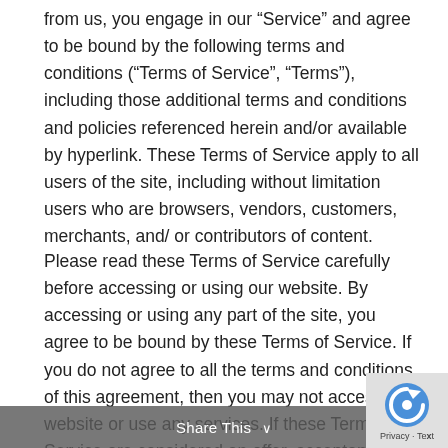from us, you engage in our “Service” and agree to be bound by the following terms and conditions (“Terms of Service”, “Terms”), including those additional terms and conditions and policies referenced herein and/or available by hyperlink. These Terms of Service apply to all users of the site, including without limitation users who are browsers, vendors, customers, merchants, and/ or contributors of content.
Please read these Terms of Service carefully before accessing or using our website. By accessing or using any part of the site, you agree to be bound by these Terms of Service. If you do not agree to all the terms and conditions of this agreement, then you may not access the website or use any services. If these Terms of Service are considered an offer, acceptance is expressly limited to these Terms of Service.
Share This